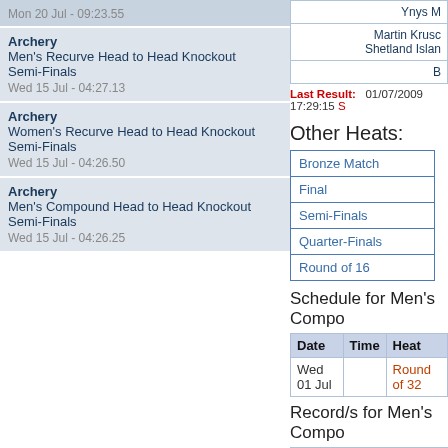Mon 20 Jul - 09:23.55
Archery Men's Recurve Head to Head Knockout Semi-Finals
Wed 15 Jul - 04:27.13
Archery Women's Recurve Head to Head Knockout Semi-Finals
Wed 15 Jul - 04:26.50
Archery Men's Compound Head to Head Knockout Semi-Finals
Wed 15 Jul - 04:26.25
| Ynys M |
| Martin Krusc | Shetland Islan |
| B |
Last Result: 01/07/2009 17:29:15 S
Other Heats:
| Bronze Match |
| Final |
| Semi-Finals |
| Quarter-Finals |
| Round of 16 |
Schedule for Men's Compo
| Date | Time | Heat |
| --- | --- | --- |
| Wed 01 Jul |  | Round of 32 |
Record/s for Men's Compo
| Event |
| --- |